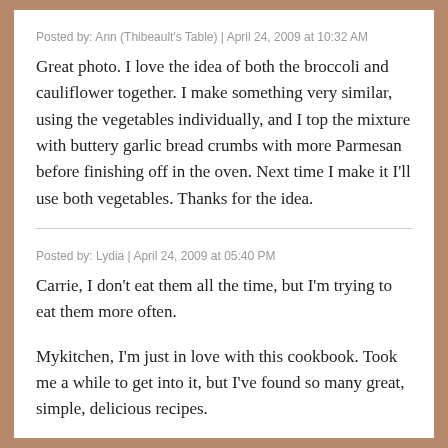Posted by: Ann (Thibeault's Table) | April 24, 2009 at 10:32 AM
Great photo. I love the idea of both the broccoli and cauliflower together. I make something very similar, using the vegetables individually, and I top the mixture with buttery garlic bread crumbs with more Parmesan before finishing off in the oven. Next time I make it I'll use both vegetables. Thanks for the idea.
Posted by: Lydia | April 24, 2009 at 05:40 PM
Carrie, I don't eat them all the time, but I'm trying to eat them more often.
Mykitchen, I'm just in love with this cookbook. Took me a while to get into it, but I've found so many great, simple, delicious recipes.
Michelle, I can't eat any of the brassicas raw -- too